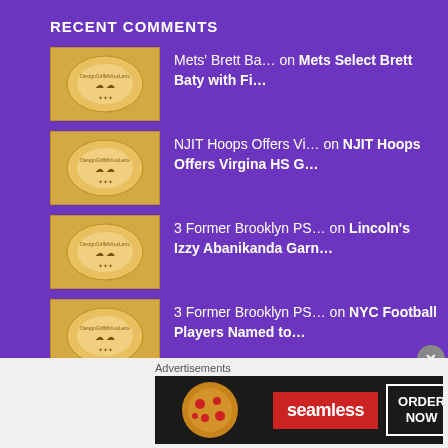RECENT COMMENTS
Mets' Brett Ba… on Mets Select Brett Baty with Fi…
NJIT Hoops Offers Vi… on NJIT Hoops Offers Virgina HS G…
3 Former Brooklyn PS… on Lincoln's Izzy Abanikanda Garn…
3 Former Brooklyn PS… on NYC Football Players Named to…
SRT News Admin on LI Ducks' Lew Ford Clubs…
Advertisements